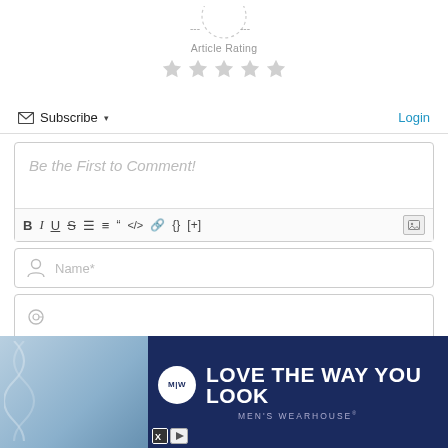[Figure (infographic): Article rating section with dashed circle, dashes on left and right, 'Article Rating' label, and 5 empty grey stars]
Subscribe ▾   Login
[Figure (screenshot): Comment box with placeholder 'Be the First to Comment!' and text formatting toolbar with B, I, U, S, ordered list, unordered list, quote, code, link, braces, [+] and image icon buttons]
[Figure (screenshot): Name input field with user icon and 'Name*' placeholder]
[Figure (screenshot): Email input field partially visible]
[Figure (infographic): Men's Wearhouse advertisement banner with navy background, M|W logo circle, 'LOVE THE WAY YOU LOOK' text, and 'MEN'S WEARHOUSE' subtext]
No